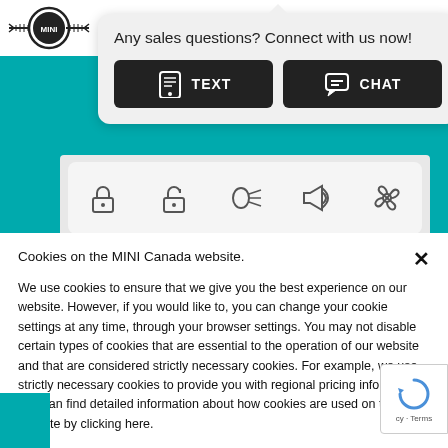[Figure (screenshot): MINI logo in navigation bar]
Any sales questions? Connect with us now!
[Figure (screenshot): TEXT button with mobile icon]
[Figure (screenshot): CHAT button with chat icon]
[Figure (screenshot): Car feature icons strip: lock, unlock, headlights, horn, fan]
[Figure (screenshot): Car feature icons row 2: car icon left, fan icon right]
Cookies on the MINI Canada website.
We use cookies to ensure that we give you the best experience on our website. However, if you would like to, you can change your cookie settings at any time, through your browser settings. You may not disable certain types of cookies that are essential to the operation of our website and that are considered strictly necessary cookies. For example, we use strictly necessary cookies to provide you with regional pricing information. You can find detailed information about how cookies are used on this website by clicking here.